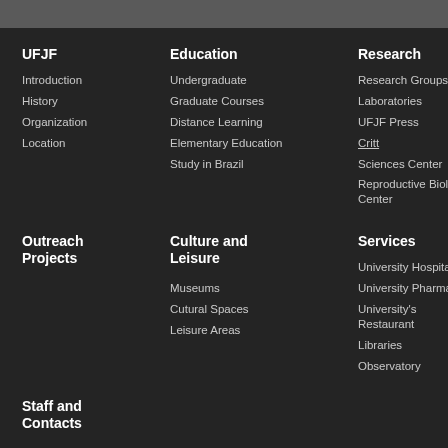UFJF
Introduction
History
Organization
Location
Education
Undergraduate
Graduate Courses
Distance Learning
Elementary Education
Study in Brazil
Research
Research Groups
Laboratories
UFJF Press
Critt
Sciences Center
Reproductive Biology Center
Outreach Projects
Culture and Leisure
Museums
Cutural Spaces
Leisure Areas
Services
University Hospital
University Pharmacy
University's Restaurant
Libraries
Observatory
Staff and Contacts